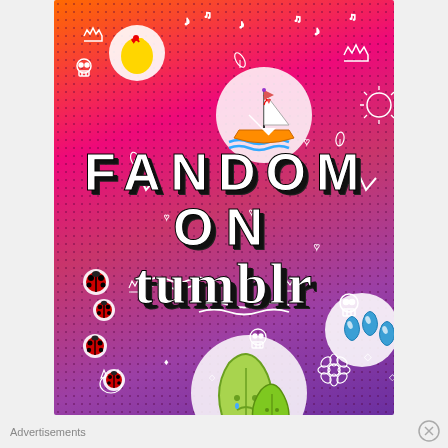[Figure (illustration): Tumblr 'Fandom on Tumblr' promotional poster with orange-to-purple gradient background, polka dot overlay, white doodle illustrations (skulls, crowns, music notes, hearts, arrows, leaves, stars, sun, cat faces, waves), colorful stickers (finger heart, sailboat, ladybugs, crying leaf character, blue teardrops), and bold text reading 'FANDOM ON tumblr' in white with dark shadow.]
Advertisements